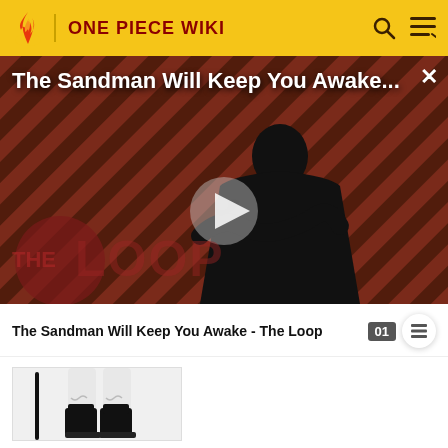ONE PIECE WIKI
[Figure (screenshot): Video thumbnail for 'The Sandman Will Keep You Awake...' featuring a dark-robed figure with a raven on a red diagonal stripe background, with a play button overlay and 'THE LOOP' logo in the lower left. Part of 'The Loop' wiki video feature.]
The Sandman Will Keep You Awake - The Loop
[Figure (illustration): Lower body illustration of a character in white pants and black boots holding a sword/staff, on white background.]